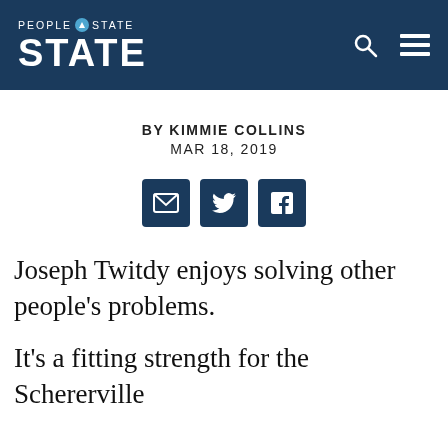PEOPLE OF STATE
BY KIMMIE COLLINS
MAR 18, 2019
[Figure (other): Social share icons: email, Twitter, Facebook]
Joseph Twitdy enjoys solving other people's problems.
It's a fitting strength for the Schererville